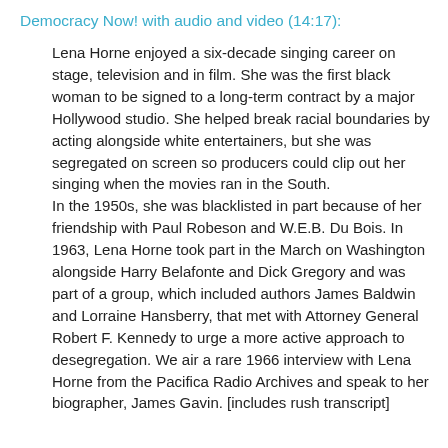Democracy Now! with audio and video (14:17):
Lena Horne enjoyed a six-decade singing career on stage, television and in film. She was the first black woman to be signed to a long-term contract by a major Hollywood studio. She helped break racial boundaries by acting alongside white entertainers, but she was segregated on screen so producers could clip out her singing when the movies ran in the South.
In the 1950s, she was blacklisted in part because of her friendship with Paul Robeson and W.E.B. Du Bois. In 1963, Lena Horne took part in the March on Washington alongside Harry Belafonte and Dick Gregory and was part of a group, which included authors James Baldwin and Lorraine Hansberry, that met with Attorney General Robert F. Kennedy to urge a more active approach to desegregation. We air a rare 1966 interview with Lena Horne from the Pacifica Radio Archives and speak to her biographer, James Gavin. [includes rush transcript]